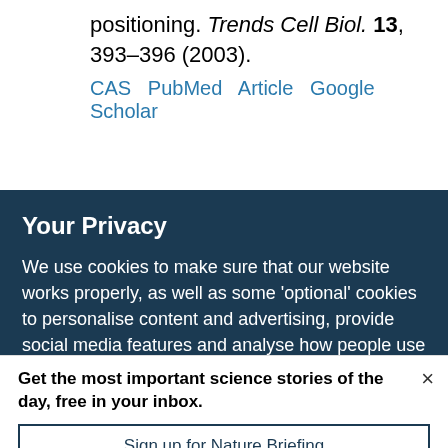positioning. Trends Cell Biol. 13, 393–396 (2003).
CAS  PubMed  Article  Google Scholar
Your Privacy
We use cookies to make sure that our website works properly, as well as some 'optional' cookies to personalise content and advertising, provide social media features and analyse how people use our site. By accepting some or all optional cookies you give consent to the processing of your personal data, including transfer to third parties, some in countries outside of the European Economic Area that do not offer the same data protection standards as the country where you live. You can decide which optional cookies to accept by clicking on 'Manage Settings', where you can
Get the most important science stories of the day, free in your inbox.
Sign up for Nature Briefing